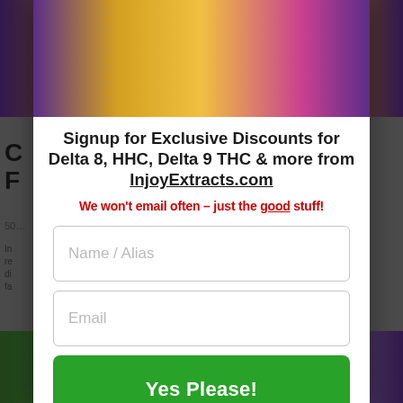[Figure (screenshot): Background page content with top colorful image strip and partial article text visible behind modal overlay]
Signup for Exclusive Discounts for Delta 8, HHC, Delta 9 THC & more from InjoyExtracts.com
We won't email often - just the good stuff!
Name / Alias (input field placeholder)
Email (input field placeholder)
Yes Please!
No Thanks